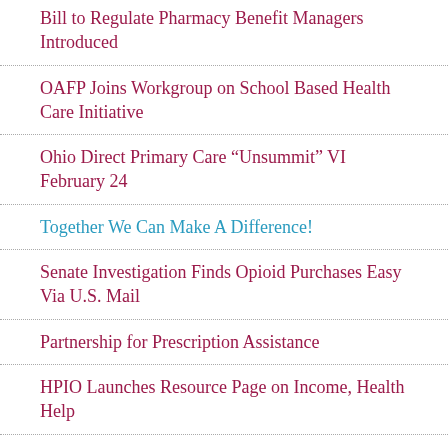Bill to Regulate Pharmacy Benefit Managers Introduced
OAFP Joins Workgroup on School Based Health Care Initiative
Ohio Direct Primary Care “Unsummit” VI February 24
Together We Can Make A Difference!
Senate Investigation Finds Opioid Purchases Easy Via U.S. Mail
Partnership for Prescription Assistance
HPIO Launches Resource Page on Income, Health Help…